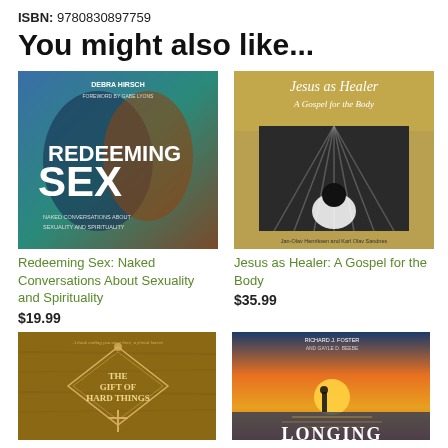ISBN: 9780830897759
You might also like...
[Figure (photo): Book cover: Redeeming Sex by Debra Hirsch]
Redeeming Sex: Naked Conversations About Sexuality and Spirituality
$19.99
[Figure (photo): Book cover: Jesus as Healer: A Gospel for the Body]
Jesus as Healer: A Gospel for the Body
$35.99
[Figure (photo): Book cover: The Gift of Hard Things]
[Figure (photo): Book cover: Longing by Richard J. Foster and Gayle D. Beebe]